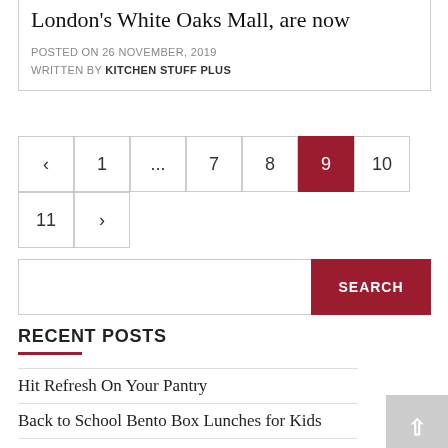London's White Oaks Mall, are now
POSTED ON 26 NOVEMBER, 2019
WRITTEN BY KITCHEN STUFF PLUS
< 1 ... 7 8 9 10 11 >
SEARCH
RECENT POSTS
Hit Refresh On Your Pantry
Back to School Bento Box Lunches for Kids
Everything You Need To Refresh Your Laundry Room